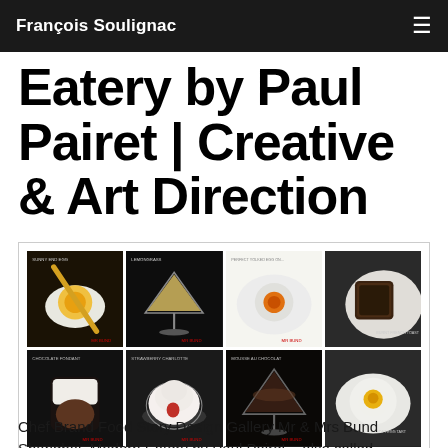François Soulignac
Eatery by Paul Pairet | Creative & Art Direction
[Figure (photo): A 4x2 grid of food photography images for Mr & Mrs Bund Shanghai, Modern Eatery by Paul Pairet. Top row: a golden egg yolk dish with a crispy straw, a martini glass with cream cocktail, a swirled orange yolk on white plate, a dark toasted bread on white plate. Bottom row: a chocolate mousse dessert in a glass, a whipped cream dessert with strawberry in a bowl, a chocolate martini dessert, a soft boiled egg on white plate.]
Chef Brand Food Story Design Gallery Mr & Mrs Bund Shanghai, Modern Eatery by Paul Pairet – also called